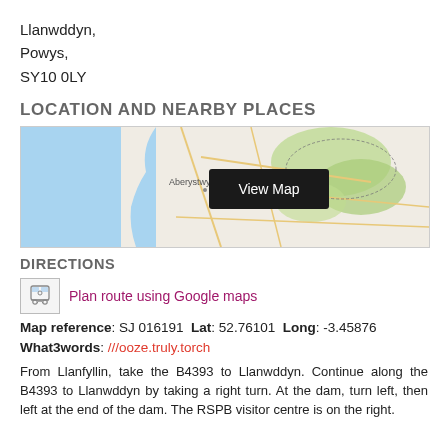Llanwddyn,
Powys,
SY10 0LY
LOCATION AND NEARBY PLACES
[Figure (map): A map showing the area around Aberystwyth, Wales, with blue sea on the left, green terrain on the right, and road networks. A dark 'View Map' button is overlaid in the center-right area.]
DIRECTIONS
Plan route using Google maps
Map reference: SJ 016191  Lat: 52.76101  Long: -3.45876
What3words: ///ooze.truly.torch
From Llanfyllin, take the B4393 to Llanwddyn. Continue along the B4393 to Llanwddyn by taking a right turn. At the dam, turn left, then left at the end of the dam. The RSPB visitor centre is on the right.